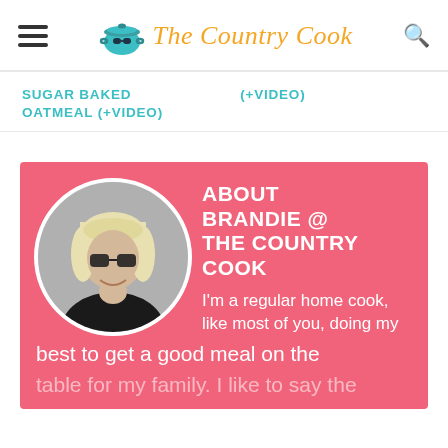[Figure (logo): The Country Cook logo with teal pot icon and script text]
SUGAR BAKED OATMEAL (+VIDEO)
(+VIDEO)
[Figure (infographic): About Brandie @ The Country Cook pink sidebar box with circular black-and-white photo of blonde woman with glasses]
ABOUT BRANDIE @ THE COUNTRY COOK
I'm a regular home cook, like most of you, doing my best to get a good meal on the table for my family. I like to say the